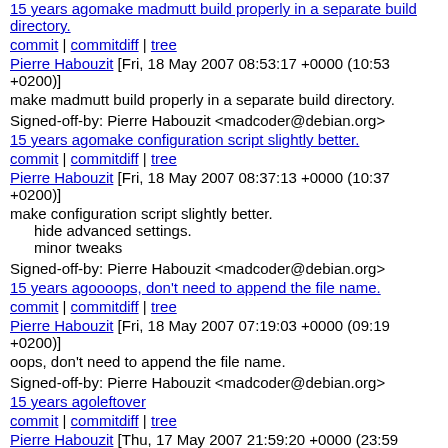15 years ago make madmutt build properly in a separate build directory.
commit | commitdiff | tree
Pierre Habouzit [Fri, 18 May 2007 08:53:17 +0000 (10:53 +0200)]
make madmutt build properly in a separate build directory.
Signed-off-by: Pierre Habouzit <madcoder@debian.org>
15 years ago make configuration script slightly better.
commit | commitdiff | tree
Pierre Habouzit [Fri, 18 May 2007 08:37:13 +0000 (10:37 +0200)]
make configuration script slightly better.
hide advanced settings.
minor tweaks
Signed-off-by: Pierre Habouzit <madcoder@debian.org>
15 years ago ooops, don't need to append the file name.
commit | commitdiff | tree
Pierre Habouzit [Fri, 18 May 2007 07:19:03 +0000 (09:19 +0200)]
oops, don't need to append the file name.
Signed-off-by: Pierre Habouzit <madcoder@debian.org>
15 years ago leftover
commit | commitdiff | tree
Pierre Habouzit [Thu, 17 May 2007 21:59:20 +0000 (23:59 +0200)]